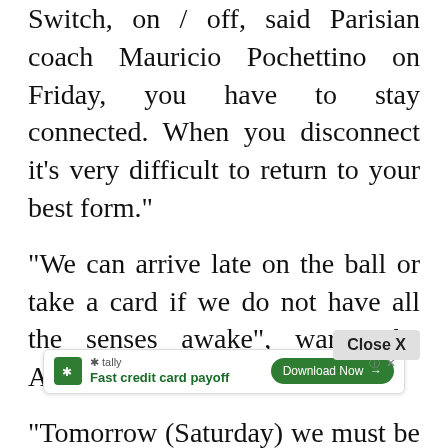Switch, on / off, said Parisian coach Mauricio Pochettino on Friday, you have to stay connected. When you disconnect it's very difficult to return to your best form."
"We can arrive late on the ball or take a card if we do not have all the senses awake", warns the Argentinian.
"Tomorrow (Saturday) we must be at our best level of concentration and energy, to respect Ligue 1 and Nice", he underlined.
Beating Nice remains "the best way to prepare for the competition that everyone dreams of here" ...
Befor...
[Figure (screenshot): Ad overlay: Tally app - Fast credit card payoff with Download Now button and Close X button]